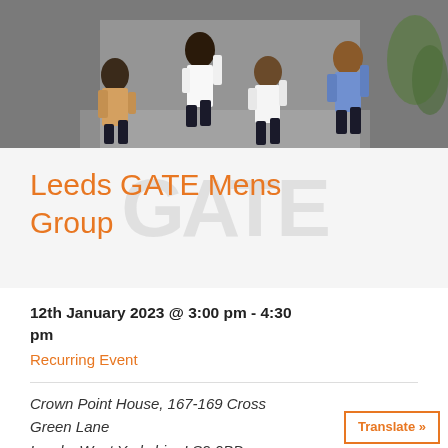[Figure (photo): Group of men in business attire jumping energetically in an office corridor]
Leeds GATE Mens Group
12th January 2023 @ 3:00 pm - 4:30 pm
Recurring Event
Crown Point House, 167-169 Cross Green Lane
Leeds, West Yorkshire LS9 0BD